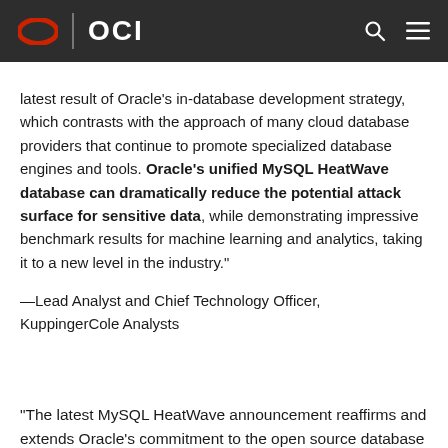OCI
latest result of Oracle's in-database development strategy, which contrasts with the approach of many cloud database providers that continue to promote specialized database engines and tools. Oracle's unified MySQL HeatWave database can dramatically reduce the potential attack surface for sensitive data, while demonstrating impressive benchmark results for machine learning and analytics, taking it to a new level in the industry."
—Lead Analyst and Chief Technology Officer, KuppinglerCole Analysts
“The latest MySQL HeatWave announcement reaffirms and extends Oracle's commitment to the open source database market. Integrated with MySQL Database optimized for OCI, HeatWave seamlessly brings together analytics, operational and besides within a new t